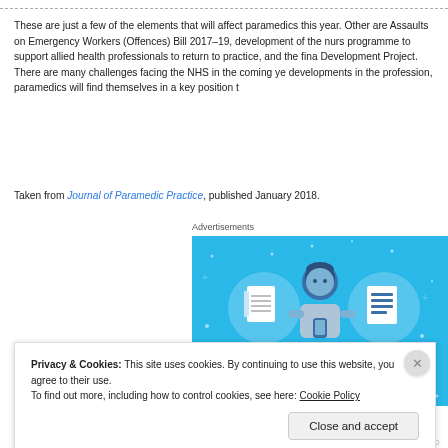These are just a few of the elements that will affect paramedics this year. Other are Assaults on Emergency Workers (Offences) Bill 2017–19, development of the nurs programme to support allied health professionals to return to practice, and the fina Development Project. There are many challenges facing the NHS in the coming ye developments in the profession, paramedics will find themselves in a key position t
Taken from Journal of Paramedic Practice, published January 2018.
Advertisements
[Figure (illustration): Advertisement image with blue background showing a stylized person holding a phone, flanked by circular icons of a notebook and a list/document. Text at the bottom reads 'DAY ONE'.]
Privacy & Cookies: This site uses cookies. By continuing to use this website, you agree to their use.
To find out more, including how to control cookies, see here: Cookie Policy
Close and accept